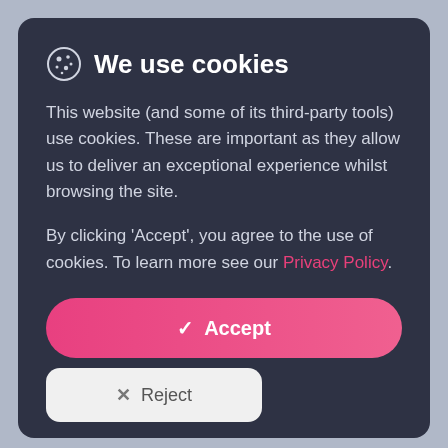We use cookies
This website (and some of its third-party tools) use cookies. These are important as they allow us to deliver an exceptional experience whilst browsing the site.
By clicking 'Accept', you agree to the use of cookies. To learn more see our Privacy Policy.
✓ Accept
✕ Reject